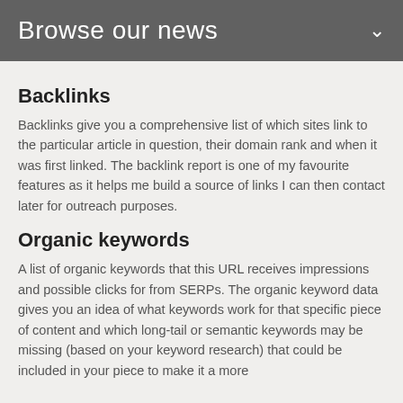Browse our news
Backlinks
Backlinks give you a comprehensive list of which sites link to the particular article in question, their domain rank and when it was first linked. The backlink report is one of my favourite features as it helps me build a source of links I can then contact later for outreach purposes.
Organic keywords
A list of organic keywords that this URL receives impressions and possible clicks for from SERPs. The organic keyword data gives you an idea of what keywords work for that specific piece of content and which long-tail or semantic keywords may be missing (based on your keyword research) that could be included in your piece to make it a more